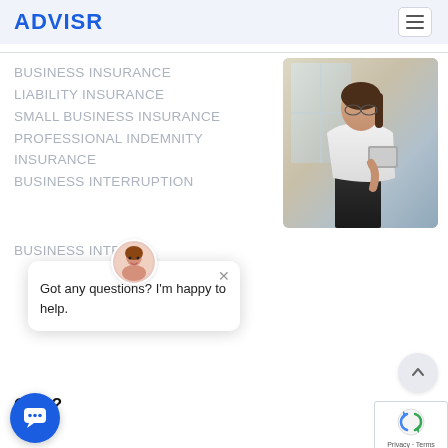ADVISR
BUSINESS INSURANCE
LIABILITY INSURANCE
SMALL BUSINESS INSURANCE
PROFESSIONAL INDEMNITY INSURANCE
BUSINESS INTERRUPTION
[Figure (photo): Professional woman in white blouse holding a tablet, standing near a window]
Cost?
[Figure (screenshot): Chat bot popup with avatar saying 'Got any questions? I'm happy to help.']
[Figure (logo): reCAPTCHA badge with Privacy and Terms links]